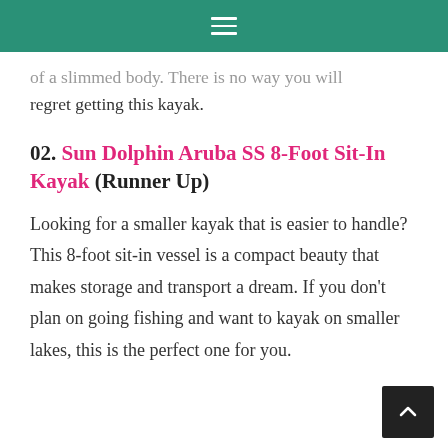≡
of a slimmed body. There is no way you will regret getting this kayak.
02. Sun Dolphin Aruba SS 8-Foot Sit-In Kayak (Runner Up)
Looking for a smaller kayak that is easier to handle? This 8-foot sit-in vessel is a compact beauty that makes storage and transport a dream. If you don't plan on going fishing and want to kayak on smaller lakes, this is the perfect one for you.